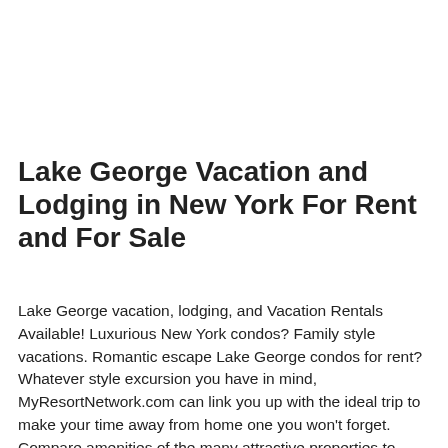Lake George Vacation and Lodging in New York For Rent and For Sale
Lake George vacation, lodging, and Vacation Rentals Available! Luxurious New York condos? Family style vacations. Romantic escape Lake George condos for rent? Whatever style excursion you have in mind, MyResortNetwork.com can link you up with the ideal trip to make your time away from home one you won't forget. Compare amenities of the many attractive properties to rent. Whether you're searching for great shops and restaurants, natural surrounds or urban entertainment, you'll be able to find the ideal vacation condo or timeshare at a price you can afford. MyResortNetwork.com is designed for vacationers and timeshare owners. We make choosing your rentals fun, and we make listing your condos a breeze. If you're